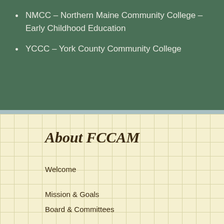NMCC – Northern Maine Community College – Early Childhood Education
YCCC – York County Community College
About FCCAM
Welcome
Mission & Goals
Board & Committees